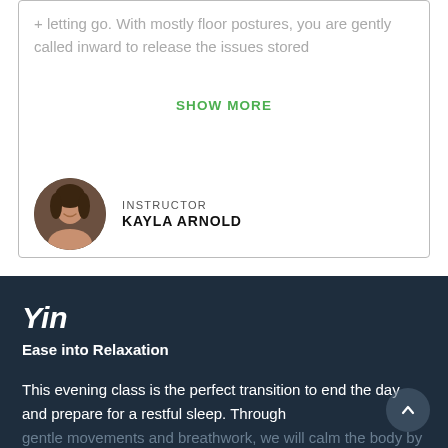+ letting go. With mostly floor postures, you are gently called inward to release the issues stored
SHOW MORE
INSTRUCTOR
KAYLA ARNOLD
[Figure (photo): Circular avatar photo of instructor Kayla Arnold]
Yin
Ease into Relaxation
This evening class is the perfect transition to end the day and prepare for a restful sleep. Through gentle movements and breathwork, we will calm the body by connecting with our